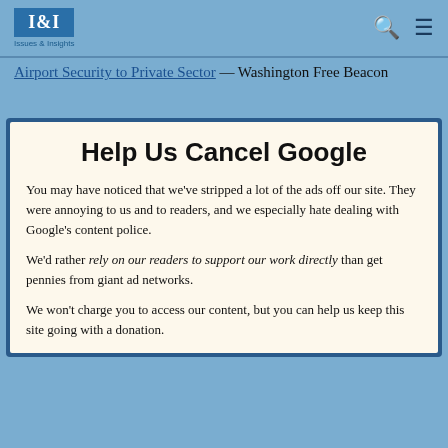I&I Issues & Insights
Airport Security to Private Sector — Washington Free Beacon
Help Us Cancel Google
You may have noticed that we've stripped a lot of the ads off our site. They were annoying to us and to readers, and we especially hate dealing with Google's content police.
We'd rather rely on our readers to support our work directly than get pennies from giant ad networks.
We won't charge you to access our content, but you can help us keep this site going with a donation.